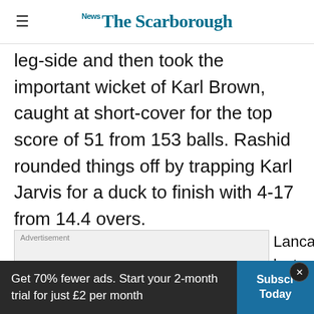The Scarborough News
leg-side and then took the important wicket of Karl Brown, caught at short-cover for the top score of 51 from 153 balls. Rashid rounded things off by trapping Karl Jarvis for a duck to finish with 4-17 from 14.4 overs.
[Figure (other): Advertisement placeholder box]
Lancashire's last five wickets fell for 13 run
Get 70% fewer ads. Start your 2-month trial for just £2 per month  Subscribe Today